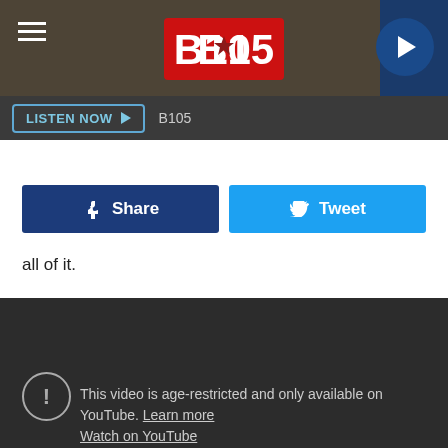[Figure (screenshot): B105 radio station header banner with textured background, hamburger menu icon on left, B105 logo in center (white text on red background with star), and circular play button on right]
[Figure (screenshot): Listen Now button bar with dark background, 'LISTEN NOW' button with play arrow and 'B105' text label]
all of it.
[Figure (screenshot): Facebook Share button (dark blue) and Twitter Tweet button (light blue) side by side]
all of it.
[Figure (screenshot): Dark section with YouTube age-restriction warning: exclamation circle icon, text 'This video is age-restricted and only available on YouTube. Learn more' and 'Watch on YouTube' link]